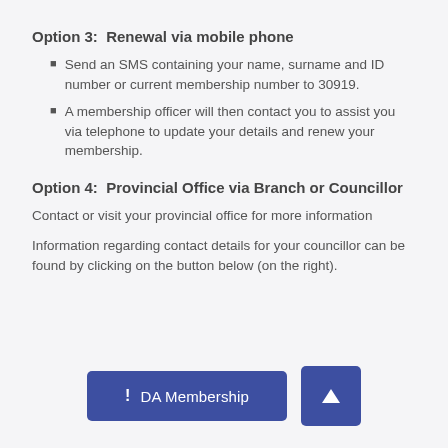Option 3:  Renewal via mobile phone
Send an SMS containing your name, surname and ID number or current membership number to 30919.
A membership officer will then contact you to assist you via telephone to update your details and renew your membership.
Option 4:  Provincial Office via Branch or Councillor
Contact or visit your provincial office for more information
Information regarding contact details for your councillor can be found by clicking on the button below (on the right).
[Figure (other): DA Membership button (dark blue, exclamation mark icon) and an up-arrow navigation button (dark blue)]